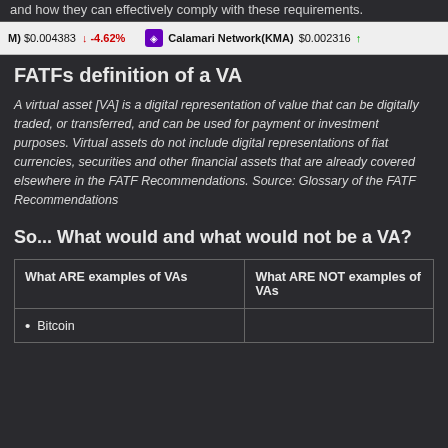and how they can effectively comply with these requirements.
M) $0.004383 ↓ -4.62%   Calamari Network(KMA) $0.002316 ↑
FATFs definition of a VA
A virtual asset [VA] is a digital representation of value that can be digitally traded, or transferred, and can be used for payment or investment purposes. Virtual assets do not include digital representations of fiat currencies, securities and other financial assets that are already covered elsewhere in the FATF Recommendations. Source: Glossary of the FATF Recommendations
So... What would and what would not be a VA?
| What ARE examples of VAs | What ARE NOT examples of VAs |
| --- | --- |
| • Bitcoin |  |